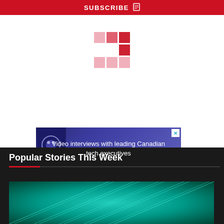SUBSCRIBE
[Figure (logo): Grid of squares in pink and red shades forming a logo pattern]
[Figure (photo): Advertisement banner: Video interviews with leading Canadian tech executives, with robotic/tech imagery on left and close button]
Popular Stories This Week
[Figure (photo): Teal/green digital network background image]